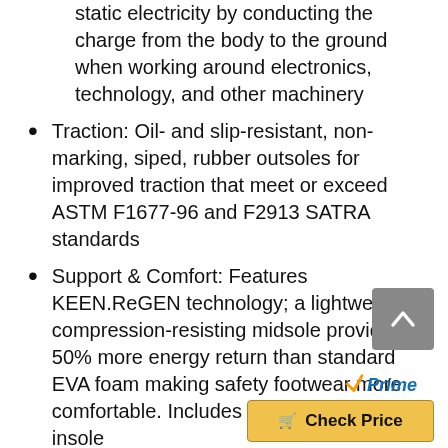static electricity by conducting the charge from the body to the ground when working around electronics, technology, and other machinery
Traction: Oil- and slip-resistant, non-marking, siped, rubber outsoles for improved traction that meet or exceed ASTM F1677-96 and F2913 SATRA standards
Support & Comfort: Features KEEN.ReGEN technology; a lightweight, compression-resisting midsole providing 50% more energy return than standard EVA foam making safety footwear more comfortable. Includes removable PU insole
Additional Features: Breathable mesh upper keeps your feet cool in warmer temperatures and non-mutilating upper reduces the change of marking or scratching surfaces when working around sensitive or expensive parts